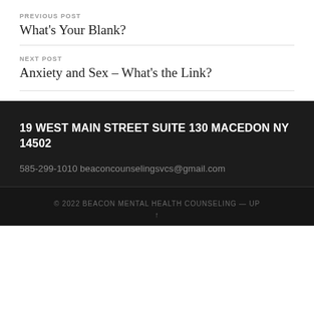PREVIOUS POST
What's Your Blank?
NEXT POST
Anxiety and Sex – What's the Link?
19 WEST MAIN STREET SUITE 130 MACEDON NY 14502
585-299-1010 beaconcounselingsvcs@gmail.com
© 2022 BEACON MENTAL HEALTH COUNSELING — UP ↑